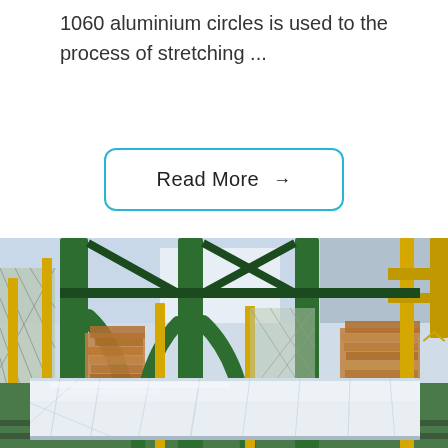1060 aluminium circles is used to the process of stretching ...
Read More →
[Figure (photo): Industrial warehouse interior showing green steel structural columns with diagonal bracing, yellow safety posts, chain-link fencing, stacked wooden pallets in background, and a large aluminium slab wrapped in clear plastic film sitting on a green roller conveyor in the foreground.]